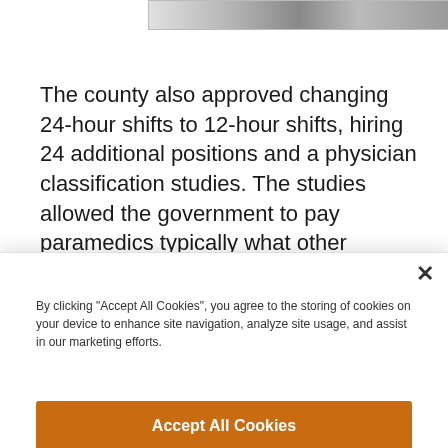[Figure (photo): Partial black and white photograph visible at the top of the page, cropped to a narrow horizontal strip showing what appears to be people]
The county also approved changing 24-hour shifts to 12-hour shifts, hiring 24 additional positions and a physician classification studies. The studies allowed the government to pay paramedics typically what other counties are making, so there is no large
By clicking "Accept All Cookies", you agree to the storing of cookies on your device to enhance site navigation, analyze site usage, and assist in our marketing efforts.
Accept All Cookies
Reject All
Cookies Settings